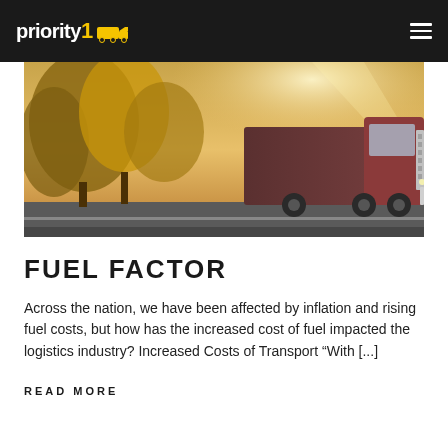priority1 [logo with truck icon and hamburger menu]
[Figure (photo): A semi-truck with a chrome grille parked near autumn trees with golden sunlight streaming through, photographed outdoors]
FUEL FACTOR
Across the nation, we have been affected by inflation and rising fuel costs, but how has the increased cost of fuel impacted the logistics industry? Increased Costs of Transport “With [...]
READ MORE